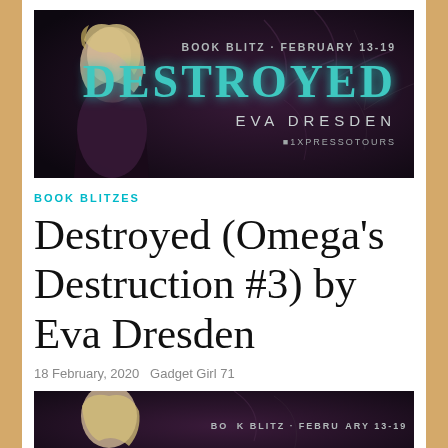[Figure (illustration): Book blitz banner for 'Destroyed' by Eva Dresden, showing a woman in dark lacy clothing against a dark floral background. Text reads 'BOOK BLITZ FEBRUARY 13-19', 'DESTROYED', 'EVA DRESDEN', 'XPRESSO TOURS']
BOOK BLITZES
Destroyed (Omega's Destruction #3) by Eva Dresden
18 February, 2020   Gadget Girl 71
[Figure (illustration): Partial book blitz banner for 'Destroyed' showing a woman's face and text 'BOOK BLITZ FEBRUARY 13-19']